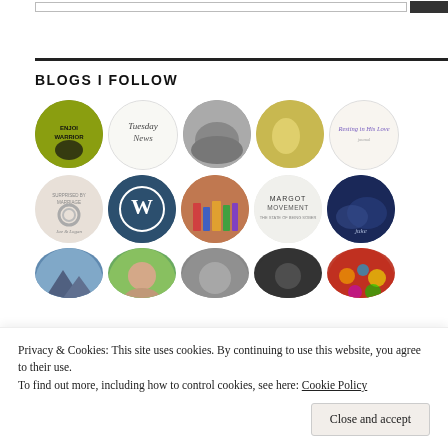BLOGS I FOLLOW
[Figure (illustration): Grid of circular blog avatar thumbnails in 3 rows of 5, showing various blog logos and photos including: a yellow retro illustration (Enjoi Warrior), a hand-drawn Tuesday News logo, a black-and-white hands photo, a flowers/lemons photo, a Resting in His Love cursive text logo, a wedding rings illustration (Surprised by Marriage), a WordPress logo, a colorful books photo, Margot Movement text logo, a dark blue abstract photo, a mountain landscape, a woman portrait, a grey abstract, a dark portrait, and a colorful bokeh circles photo.]
Privacy & Cookies: This site uses cookies. By continuing to use this website, you agree to their use.
To find out more, including how to control cookies, see here: Cookie Policy
Close and accept